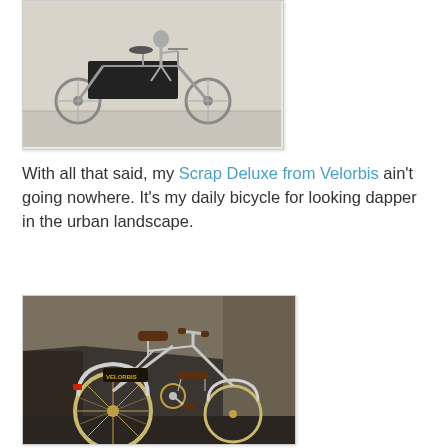[Figure (photo): A cargo bicycle being ridden across a flat concrete surface, viewed from the side. The bike has a large black cargo box on the front.]
With all that said, my Scrap Deluxe from Velorbis ain't going nowhere. It's my daily bicycle for looking dapper in the urban landscape.
[Figure (photo): A Velorbis Scrap Deluxe bicycle photographed from the rear-left angle under a concrete overpass/bridge. The bicycle has chrome fenders, whitewall tires, a brown leather saddle, and the Velorbis brand name visible on the frame.]